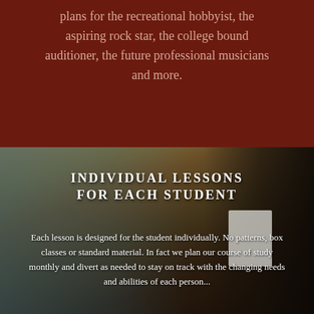plans for the recreational hobbyist, the aspiring rock star, the college bound auditioner, the future professional musicians and more.
[Figure (photo): A person playing guitar in a music studio, with a music stand visible in the background. Text overlay reads 'INDIVIDUAL LESSONS FOR EACH STUDENT' and descriptive paragraph about individualized lesson planning.]
INDIVIDUAL LESSONS FOR EACH STUDENT
Each lesson is designed for the student individually.  No patterns, box classes or standard material.  In fact we plan our course of study monthly and divert as needed to stay on track with the changing needs and abilities of each person...